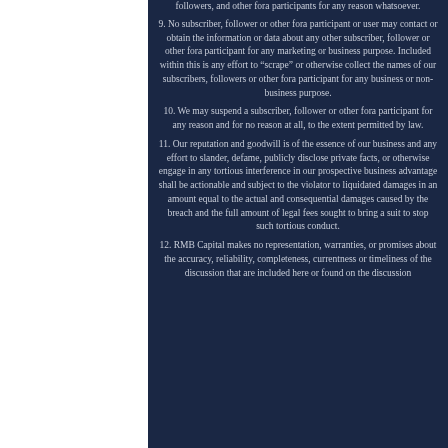followers, and other fora participants for any reason whatsoever.
9. No subscriber, follower or other fora participant or user may contact or obtain the information or data about any other subscriber, follower or other fora participant for any marketing or business purpose. Included within this is any effort to "scrape" or otherwise collect the names of our subscribers, followers or other fora participant for any business or non-business purpose.
10. We may suspend a subscriber, follower or other fora participant for any reason and for no reason at all, to the extent permitted by law.
11. Our reputation and goodwill is of the essence of our business and any effort to slander, defame, publicly disclose private facts, or otherwise engage in any tortious interference in our prospective business advantage shall be actionable and subject to the violator to liquidated damages in an amount equal to the actual and consequential damages caused by the breach and the full amount of legal fees sought to bring a suit to stop such tortious conduct.
12. RMB Capital makes no representation, warranties, or promises about the accuracy, reliability, completeness, currentness or timeliness of the discussion that are included here or found on the discussion